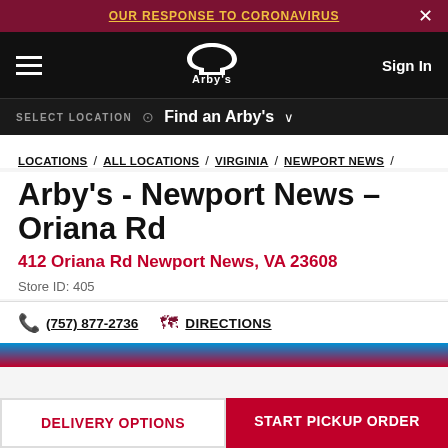OUR RESPONSE TO CORONAVIRUS
[Figure (logo): Arby's logo in white on black navigation bar, with hamburger menu left and Sign In right]
SELECT LOCATION  Find an Arby's
LOCATIONS / ALL LOCATIONS / VIRGINIA / NEWPORT NEWS /
Arby's - Newport News – Oriana Rd
412 Oriana Rd Newport News, VA 23608
Store ID: 405
(757) 877-2736   DIRECTIONS
DELIVERY OPTIONS
START PICKUP ORDER